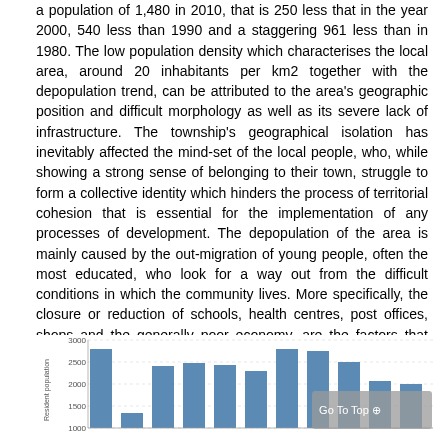a population of 1,480 in 2010, that is 250 less that in the year 2000, 540 less than 1990 and a staggering 961 less than in 1980. The low population density which characterises the local area, around 20 inhabitants per km2 together with the depopulation trend, can be attributed to the area's geographic position and difficult morphology as well as its severe lack of infrastructure. The township's geographical isolation has inevitably affected the mind-set of the local people, who, while showing a strong sense of belonging to their town, struggle to form a collective identity which hinders the process of territorial cohesion that is essential for the implementation of any processes of development. The depopulation of the area is mainly caused by the out-migration of young people, often the most educated, who look for a way out from the difficult conditions in which the community lives. More specifically, the closure or reduction of schools, health centres, post offices, shops and the generally poor economy, are the factors that mostly affect migration towards larger, more economically active urban centers.
[Figure (bar-chart): Resident population over years]